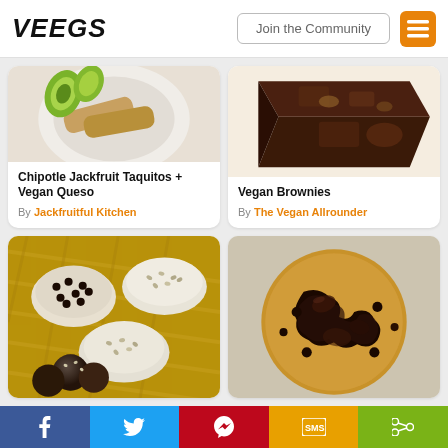VEEGS | Join the Community
[Figure (photo): Chipotle jackfruit taquitos with avocado and vegan queso on a white marble plate]
Chipotle Jackfruit Taquitos + Vegan Queso
By Jackfruitful Kitchen
[Figure (photo): Vegan brownies stacked on a white surface]
Vegan Brownies
By The Vegan Allrounder
[Figure (photo): Bowls of seeds, chocolate chips and energy balls on a wicker tray background]
[Figure (photo): Large chocolate chip cookie with melted chocolate chunks on parchment]